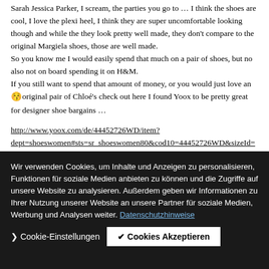Sarah Jessica Parker, I scream, the parties you go to … I think the shoes are cool, I love the plexi heel, I think they are super uncomfortable looking though and while the they look pretty well made, they don't compare to the original Margiela shoes, those are well made.
So you know me I would easily spend that much on a pair of shoes, but no also not on board spending it on H&M.
If you still want to spend that amount of money, or you would just love an 😚 original pair of Chloé's check out here I found Yoox to be pretty great for designer shoe bargains …
http://www.yoox.com/de/44452726WD/item?dept=shoeswomen#sts=sr_shoeswomen80&cod10=44452726WD&sizeId=
Reply
Wir verwenden Cookies, um Inhalte und Anzeigen zu personalisieren, Funktionen für soziale Medien anbieten zu können und die Zugriffe auf unsere Website zu analysieren. Außerdem geben wir Informationen zu Ihrer Nutzung unserer Website an unsere Partner für soziale Medien, Werbung und Analysen weiter. Datenschutzhinweise
Sandra, Don't you know better than to tempt me like that? Yoox is terrible. I mean great. No, I mean terrible. Even if I didn't get the boots, New York fits some fabulous shoes and with Carrie, could be good now, gotta be good, gotta respond ;-)